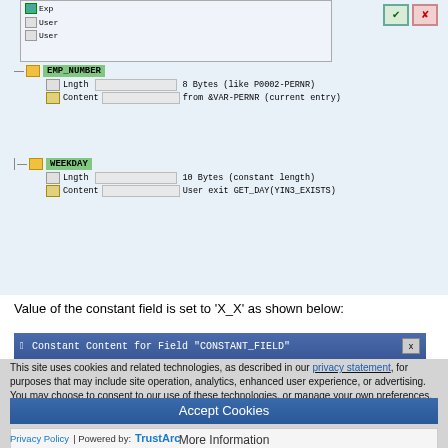[Figure (screenshot): SAP tree view screenshot showing EMP_NUMBER node with Lngth (8 Bytes, like P0002-PERNR) and Content (from &VAR-PERNR current entry), and WEEKDAY node with Lngth (10 Bytes, constant length) and Content (User exit GET_DAY(YIN3_EXISTS)), with a dialog box overlay and OK/Cancel buttons]
Value of the constant field is set to ‘X_X’ as shown below:
[Figure (screenshot): Blue title bar reading: Constant Content for Field "CONSTANT_FIELD" with X close button]
This site uses cookies and related technologies, as described in our privacy statement, for purposes that may include site operation, analytics, enhanced user experience, or advertising. You may choose to consent to our use of these technologies, or manage your own preferences.
Accept Cookies
More Information
Privacy Policy | Powered by: TrustArc